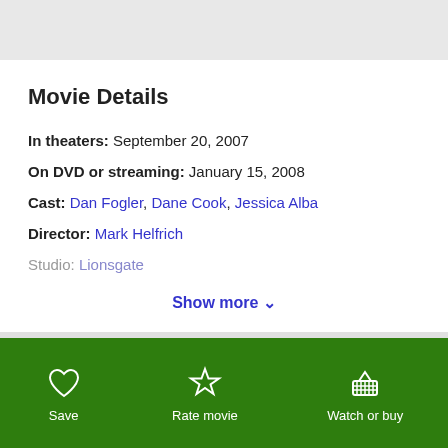Movie Details
In theaters: September 20, 2007
On DVD or streaming: January 15, 2008
Cast: Dan Fogler, Dane Cook, Jessica Alba
Director: Mark Helfrich
Studio: Lionsgate
Show more ∨
Save  Rate movie  Watch or buy